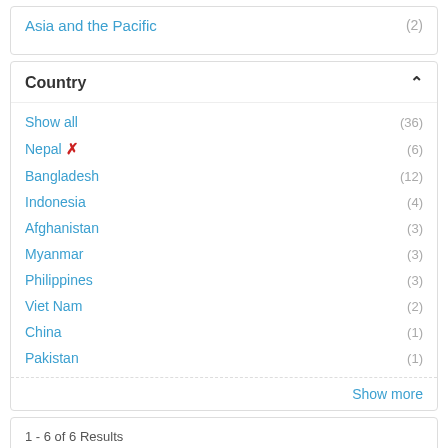Asia and the Pacific (2)
Country
Show all (36)
Nepal ✕ (6)
Bangladesh (12)
Indonesia (4)
Afghanistan (3)
Myanmar (3)
Philippines (3)
Viet Nam (2)
China (1)
Pakistan (1)
Show more
1 - 6 of 6 Results